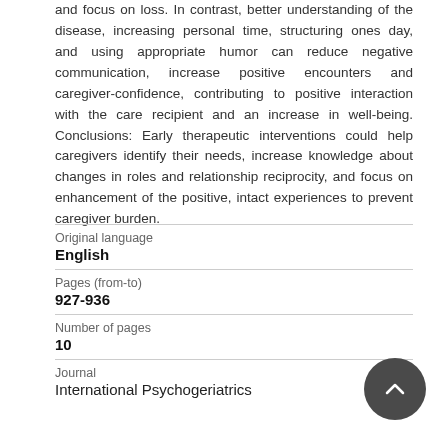and focus on loss. In contrast, better understanding of the disease, increasing personal time, structuring ones day, and using appropriate humor can reduce negative communication, increase positive encounters and caregiver-confidence, contributing to positive interaction with the care recipient and an increase in well-being. Conclusions: Early therapeutic interventions could help caregivers identify their needs, increase knowledge about changes in roles and relationship reciprocity, and focus on enhancement of the positive, intact experiences to prevent caregiver burden.
| Field | Value |
| --- | --- |
| Original language | English |
| Pages (from-to) | 927-936 |
| Number of pages | 10 |
| Journal | International Psychogeriatrics |